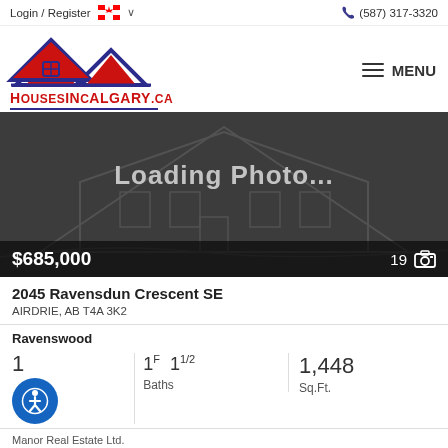Login / Register  (587) 317-3320
[Figure (logo): HousesInCalgary.ca logo with house outline icon above text, red and blue colors]
[Figure (photo): Loading Photo... placeholder with house outline silhouette on dark background. Price $685,000 shown at bottom left, photo count 19 at bottom right.]
2045 Ravensdun Crescent SE
AIRDRIE, AB T4A 3K2
Ravenswood
1  1F 1 1/2 Baths  1,448 Sq.Ft.
Manor Real Estate Ltd.